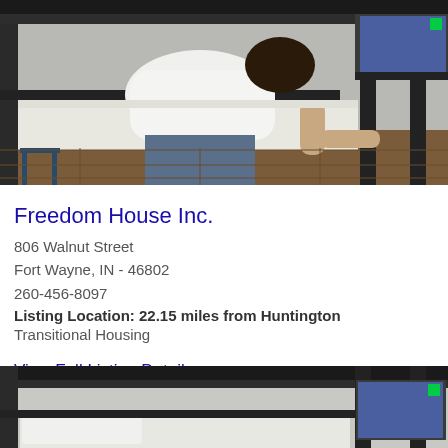[Figure (photo): Person making a bed on a bunk bed, white t-shirt, dark metal bunk bed frame, white sheets, wooden floor visible]
Freedom House Inc.
806 Walnut Street
Fort Wayne, IN - 46802
260-456-8097
Listing Location: 22.15 miles from Huntington
Transitional Housing
View Full Listing Details
[Figure (photo): Bunk bed frame with white mattress/pillow, dark metal frame, partial view at bottom of page]